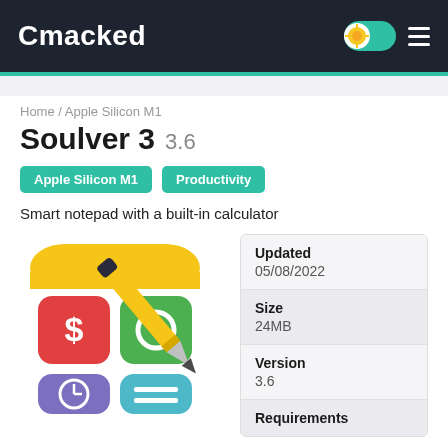Cmacked
Home / Apple Silicon M1
Soulver 3 3.6
Apple Silicon M1
Productivity
Smart notepad with a built-in calculator
[Figure (illustration): Soulver 3 app icon showing a calculator/notepad app with dollar sign, clock, green circle, and equals sign tiles, with a yellow pen/pencil overlaid on top]
| Field | Value |
| --- | --- |
| Updated | 05/08/2022 |
| Size | 24MB |
| Version | 3.6 |
| Requirements |  |